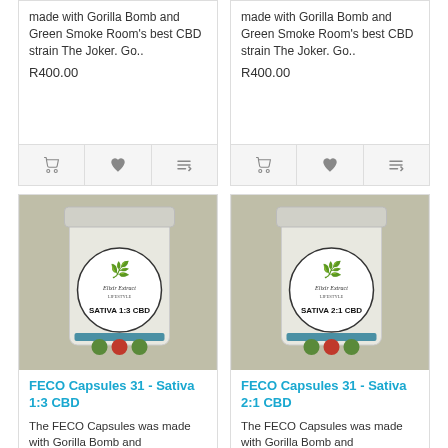made with Gorilla Bomb and Green Smoke Room's best CBD strain The Joker. Go..
R400.00
made with Gorilla Bomb and Green Smoke Room's best CBD strain The Joker. Go..
R400.00
[Figure (photo): Jar of FECO Capsules 31 - Sativa 1:3 CBD with Elixir Extract label]
FECO Capsules 31 - Sativa 1:3 CBD
The FECO Capsules was made with Gorilla Bomb and
[Figure (photo): Jar of FECO Capsules 31 - Sativa 2:1 CBD with Elixir Extract label]
FECO Capsules 31 - Sativa 2:1 CBD
The FECO Capsules was made with Gorilla Bomb and